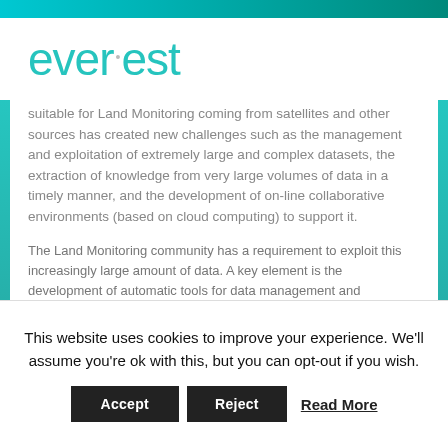everest
…suitable for Land Monitoring coming from satellites and other sources has created new challenges such as the management and exploitation of extremely large and complex datasets, the extraction of knowledge from very large volumes of data in a timely manner, and the development of on-line collaborative environments (based on cloud computing) to support it.
The Land Monitoring community has a requirement to exploit this increasingly large amount of data. A key element is the development of automatic tools for data management and processing which need to be integrated into the entire data chain in order to reduce the amount of human and economic resources required, and to deal efficiently with data analysis procedures.
This website uses cookies to improve your experience. We'll assume you're ok with this, but you can opt-out if you wish.
Accept   Reject   Read More